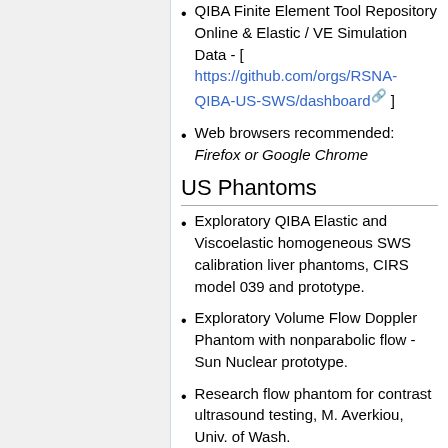QIBA Finite Element Tool Repository Online & Elastic / VE Simulation Data - [ https://github.com/orgs/RSNA-QIBA-US-SWS/dashboard ]
Web browsers recommended: Firefox or Google Chrome
US Phantoms
Exploratory QIBA Elastic and Viscoelastic homogeneous SWS calibration liver phantoms, CIRS model 039 and prototype.
Exploratory Volume Flow Doppler Phantom with nonparabolic flow - Sun Nuclear prototype.
Research flow phantom for contrast ultrasound testing, M. Averkiou, Univ. of Wash.
Phantom Simulation Data ->